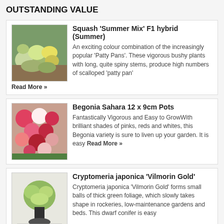OUTSTANDING VALUE
[Figure (photo): Squash Summer Mix vegetables in a bowl]
Squash 'Summer Mix' F1 hybrid (Summer)
An exciting colour combination of the increasingly popular 'Patty Pans'. These vigorous bushy plants with long, quite spiny stems, produce high numbers of scalloped 'patty pan'
Read More »
[Figure (photo): Begonia Sahara flowers in pinks reds and whites]
Begonia Sahara 12 x 9cm Pots
Fantastically Vigorous and Easy to GrowWith brilliant shades of pinks, reds and whites, this Begonia variety is sure to liven up your garden. It is easy Read More »
[Figure (photo): Cryptomeria japonica Vilmorin Gold plant in pot]
Cryptomeria japonica 'Vilmorin Gold'
Cryptomeria japonica 'Vilmorin Gold' forms small balls of thick green foliage, which slowly takes shape in rockeries, low-maintenance gardens and beds. This dwarf conifer is easy Read More »
[Figure (photo): Fiskars Smartfit Bypass Pruners]
Fiskars Smartfit Bypass Pruners